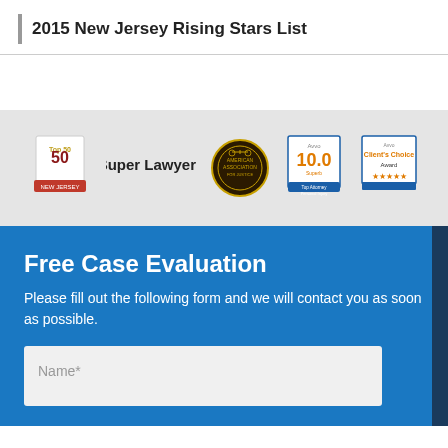2015 New Jersey Rising Stars List
[Figure (logo): Row of legal award logos: Top 50, Super Lawyers, American Association for Justice, Avvo 10.0, Avvo Client's Choice Award]
Free Case Evaluation
Please fill out the following form and we will contact you as soon as possible.
Name*